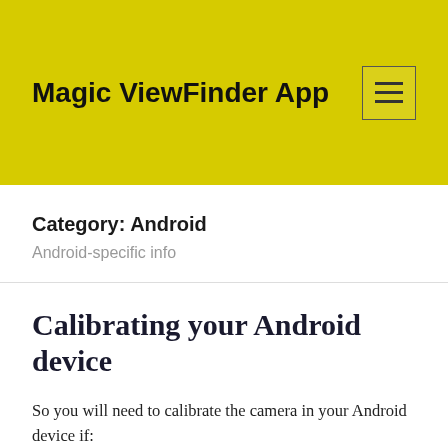Magic ViewFinder App
Category: Android
Android-specific info
Calibrating your Android device
So you will need to calibrate the camera in your Android device if:
1. You bought a wide lens adapter for your camera,